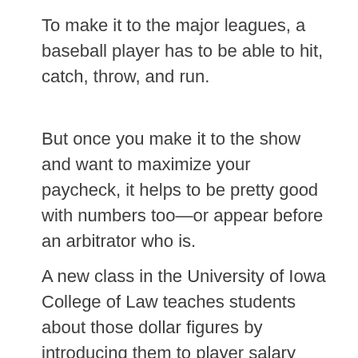To make it to the major leagues, a baseball player has to be able to hit, catch, throw, and run.
But once you make it to the show and want to maximize your paycheck, it helps to be pretty good with numbers too—or appear before an arbitrator who is.
A new class in the University of Iowa College of Law teaches students about those dollar figures by introducing them to player salary arbitration and participating in mock arbitration hearings, using baseball as a learning tool. Students form their arguments as